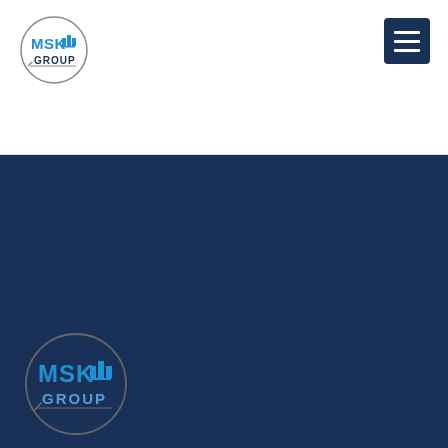[Figure (logo): MSK Group circular logo in top-left of white header bar]
[Figure (logo): Hamburger menu button (three horizontal lines) in dark navy square, top-right]
[Figure (logo): MSK Group circular logo in large size, within dark navy section]
MSK Group specialist provide  offshore company formation  serving their vital needs for secure and productive holding structure, corporate bank accounts, tax and succession planning, feasibility studies, _ and bookkeeping.